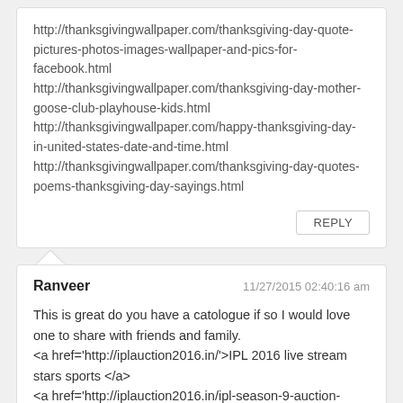http://thanksgivingwallpaper.com/thanksgiving-day-quote-pictures-photos-images-wallpaper-and-pics-for-facebook.html http://thanksgivingwallpaper.com/thanksgiving-day-mother-goose-club-playhouse-kids.html http://thanksgivingwallpaper.com/happy-thanksgiving-day-in-united-states-date-and-time.html http://thanksgivingwallpaper.com/thanksgiving-day-quotes-poems-thanksgiving-day-sayings.html
REPLY
Ranveer
11/27/2015 02:40:16 am
This is great do you have a catologue if so I would love one to share with friends and family.
<a href='http://iplauction2016.in/'>IPL 2016 live stream stars sports </a>
<a href='http://iplauction2016.in/ipl-season-9-auction-date-indian-premier-league-2016-teams-start-date/'>indian Premier league Auction live streaming free </a>
<a href='http://iplauction2016.com/indian-premier-league-2016-ipl-9-auction-date-teams-schedule-venues/'>ipl Teams Schedule 2016</a>
REPLY